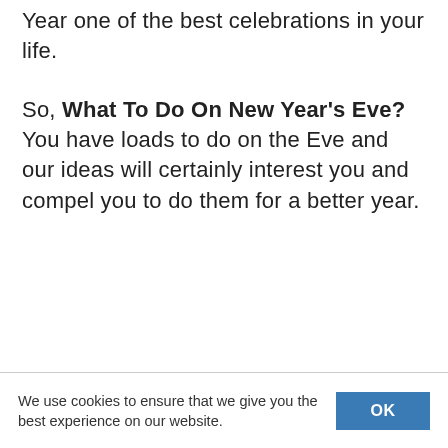Year one of the best celebrations in your life.
So, What To Do On New Year's Eve? You have loads to do on the Eve and our ideas will certainly interest you and compel you to do them for a better year.
We use cookies to ensure that we give you the best experience on our website.